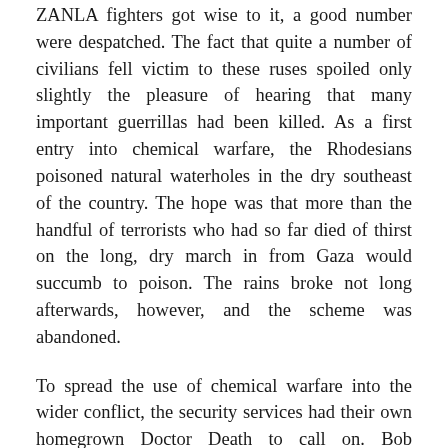ZANLA fighters got wise to it, a good number were despatched. The fact that quite a number of civilians fell victim to these ruses spoiled only slightly the pleasure of hearing that many important guerrillas had been killed. As a first entry into chemical warfare, the Rhodesians poisoned natural waterholes in the dry southeast of the country. The hope was that more than the handful of terrorists who had so far died of thirst on the long, dry march in from Gaza would succumb to poison. The rains broke not long afterwards, however, and the scheme was abandoned.
To spread the use of chemical warfare into the wider conflict, the security services had their own homegrown Doctor Death to call on. Bob Symington, professor of surgery at the University of Rhodesia, was an amateur toxicologist with a small but well-appointed laboratory in his Borrowdale home. He was also a high ranking territorial officer and as